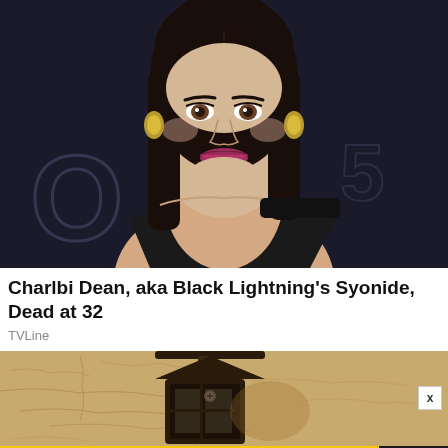[Figure (photo): Portrait photo of Charlbi Dean at a formal event, wearing a black one-shoulder dress and gold hoop earrings, dark background]
Charlbi Dean, aka Black Lightning's Syonide, Dead at 32
TVLine
[Figure (photo): Close-up photo of a vintage outdoor wall-mounted lantern on a textured sandy/beige wall]
[Figure (infographic): SPY Smart Home Awards advertisement banner: yellow background with black bold italic text reading SPY SMART HOME AWARDS / 75 BEST GADGETS OF 2022 with SPY logo]